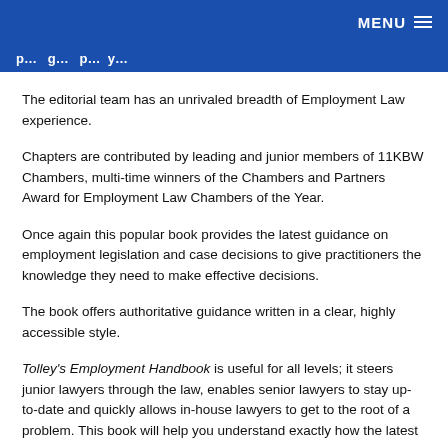MENU
p...g...py...
The editorial team has an unrivaled breadth of Employment Law experience.
Chapters are contributed by leading and junior members of 11KBW Chambers, multi-time winners of the Chambers and Partners Award for Employment Law Chambers of the Year.
Once again this popular book provides the latest guidance on employment legislation and case decisions to give practitioners the knowledge they need to make effective decisions.
The book offers authoritative guidance written in a clear, highly accessible style.
Tolley's Employment Handbook is useful for all levels; it steers junior lawyers through the law, enables senior lawyers to stay up-to-date and quickly allows in-house lawyers to get to the root of a problem. This book will help you understand exactly how the latest